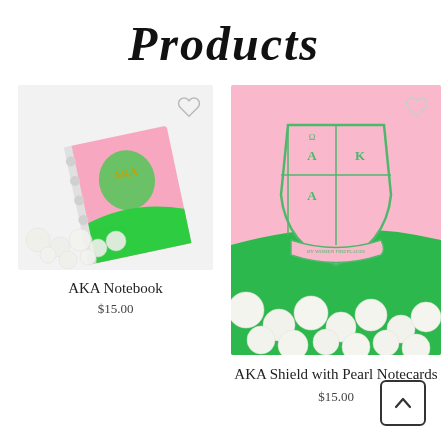Products
[Figure (photo): AKA Notebook product photo: pink and green notebook with AKA crest, surrounded by white pearls, on a light gray background. Heart icon in top-right corner.]
AKA Notebook
$15.00
[Figure (photo): AKA Shield with Pearl Notecards product photo: pink and green background with AKA shield/crest logo and white pearls in the foreground. Heart icon in top-right corner.]
AKA Shield with Pearl Notecards
$15.00